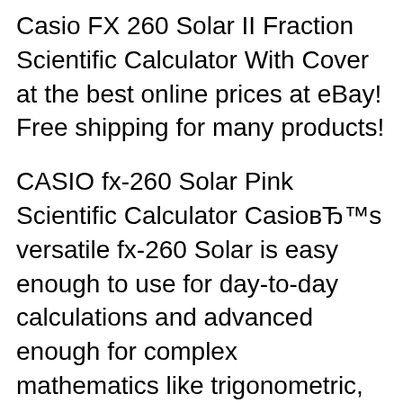Casio FX 260 Solar II Fraction Scientific Calculator With Cover at the best online prices at eBay! Free shipping for many products!
CASIO fx-260 Solar Pink Scientific Calculator CasioвЂ™s versatile fx-260 Solar is easy enough to use for day-to-day calculations and advanced enough for complex mathematics like trigonometric, exponential, and Statistical calculations. CASIO FX 260 SOLAR SCIENTIFIC CALCULATOR 6 Internal Rounding Calculates internal rounding based on the number of decimal places on the display. For example, set the calculator to 3 fixed decimal places. Press 200MZp Press a